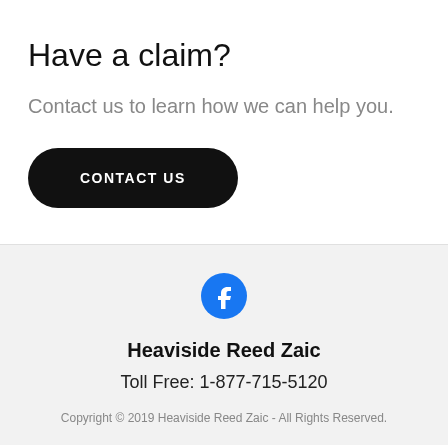Have a claim?
Contact us to learn how we can help you.
CONTACT US
[Figure (logo): Facebook logo icon — blue circle with white letter f]
Heaviside Reed Zaic
Toll Free: 1-877-715-5120
Copyright © 2019 Heaviside Reed Zaic - All Rights Reserved.